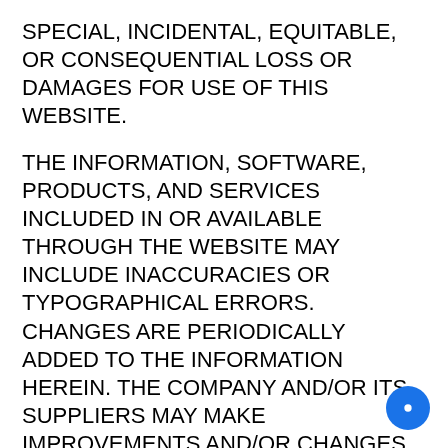SPECIAL, INCIDENTAL, EQUITABLE, OR CONSEQUENTIAL LOSS OR DAMAGES FOR USE OF THIS WEBSITE.
THE INFORMATION, SOFTWARE, PRODUCTS, AND SERVICES INCLUDED IN OR AVAILABLE THROUGH THE WEBSITE MAY INCLUDE INACCURACIES OR TYPOGRAPHICAL ERRORS. CHANGES ARE PERIODICALLY ADDED TO THE INFORMATION HEREIN. THE COMPANY AND/OR ITS SUPPLIERS MAY MAKE IMPROVEMENTS AND/OR CHANGES IN THE WEBSITE AT ANY TIME.
THE COMPANY AND/OR ITS SUPPLIERS MAKE NO REPRESENTATIONS ABOUT THE SUITABILITY, RELIABILITY, AVAILABILITY, TIMELINESS, AND ACCURACY OF THE INFORMATION, SOFTWARE, PRODUCTS, SERVICES AND RELATED GRAPHICS